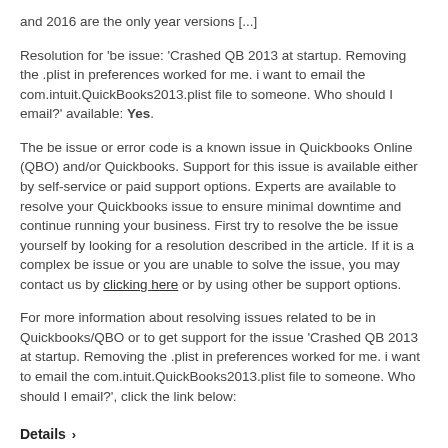and 2016 are the only year versions [...]
Resolution for 'be issue: 'Crashed QB 2013 at startup. Removing the .plist in preferences worked for me. i want to email the com.intuit.QuickBooks2013.plist file to someone. Who should I email?' available: Yes.
The be issue or error code is a known issue in Quickbooks Online (QBO) and/or Quickbooks. Support for this issue is available either by self-service or paid support options. Experts are available to resolve your Quickbooks issue to ensure minimal downtime and continue running your business. First try to resolve the be issue yourself by looking for a resolution described in the article. If it is a complex be issue or you are unable to solve the issue, you may contact us by clicking here or by using other be support options.
For more information about resolving issues related to be in Quickbooks/QBO or to get support for the issue 'Crashed QB 2013 at startup. Removing the .plist in preferences worked for me. i want to email the com.intuit.QuickBooks2013.plist file to someone. Who should I email?', click the link below:
Details >